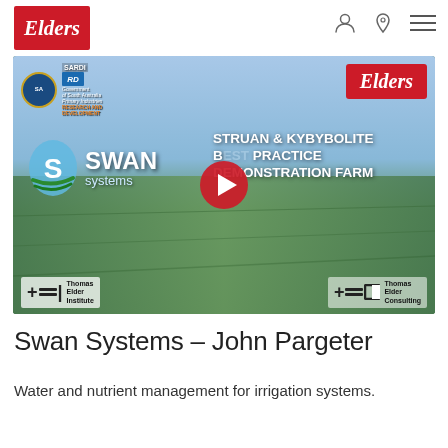Elders
[Figure (screenshot): Video thumbnail showing Swan Systems – Struan & Kybybolite Best Practice Demonstration Farm, with logos for SARDI, Government of South Australia, Elders, Thomas Elder Institute, and Thomas Elder Consulting. A play button is visible in the center.]
Swan Systems – John Pargeter
Water and nutrient management for irrigation systems.